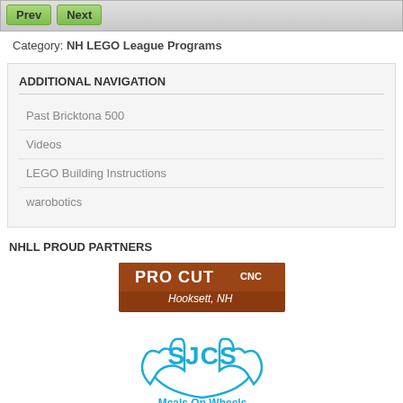Prev | Next
Category: NH LEGO League Programs
ADDITIONAL NAVIGATION
Past Bricktona 500
Videos
LEGO Building Instructions
warobotics
NHLL PROUD PARTNERS
[Figure (logo): PRO CUT CNC - Hooksett, NH logo on brown/orange background]
[Figure (logo): SJCS Meals On Wheels logo with blue hands design]